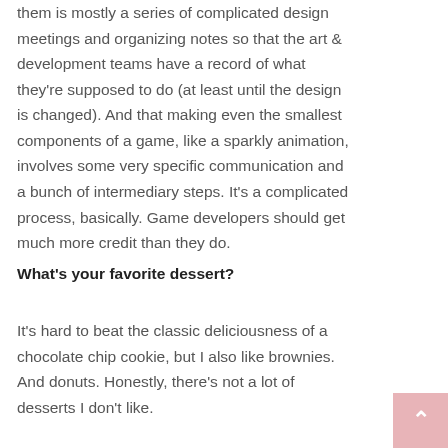them is mostly a series of complicated design meetings and organizing notes so that the art & development teams have a record of what they're supposed to do (at least until the design is changed). And that making even the smallest components of a game, like a sparkly animation, involves some very specific communication and a bunch of intermediary steps. It's a complicated process, basically. Game developers should get much more credit than they do.
What's your favorite dessert?
It's hard to beat the classic deliciousness of a chocolate chip cookie, but I also like brownies. And donuts. Honestly, there's not a lot of desserts I don't like.